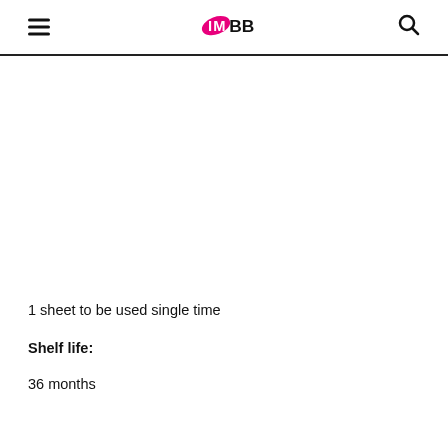IMBB
1 sheet to be used single time
Shelf life:
36 months